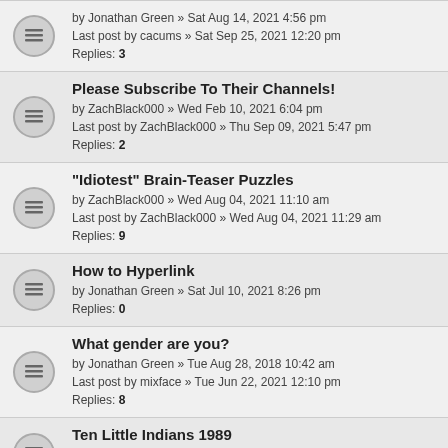by Jonathan Green » Sat Aug 14, 2021 4:56 pm
Last post by cacums » Sat Sep 25, 2021 12:20 pm
Replies: 3
Please Subscribe To Their Channels!
by ZachBlack000 » Wed Feb 10, 2021 6:04 pm
Last post by ZachBlack000 » Thu Sep 09, 2021 5:47 pm
Replies: 2
"Idiotest" Brain-Teaser Puzzles
by ZachBlack000 » Wed Aug 04, 2021 11:10 am
Last post by ZachBlack000 » Wed Aug 04, 2021 11:29 am
Replies: 9
How to Hyperlink
by Jonathan Green » Sat Jul 10, 2021 8:26 pm
Replies: 0
What gender are you?
by Jonathan Green » Tue Aug 28, 2018 10:42 am
Last post by mixface » Tue Jun 22, 2021 12:10 pm
Replies: 8
Ten Little Indians 1989
by CluedoKid » Sat Mar 05, 2011 11:05 pm
Last post by mixface » Mon Jun 21, 2021 1:35 pm